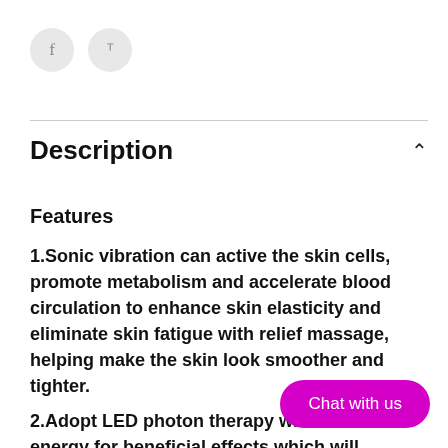[Figure (other): Two circular social media icon buttons: Facebook (f) and Pinterest (p) in light grey circles]
Description
Features
1.Sonic vibration can active the skin cells, promote metabolism and accelerate blood circulation to enhance skin elasticity and eliminate skin fatigue with relief massage, helping make the skin look smoother and tighter.
2.Adopt LED photon therapy with energy for beneficial effects which will